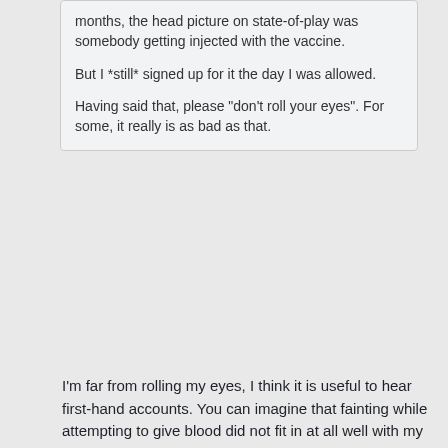months, the head picture on state-of-play was somebody getting injected with the vaccine.

But I *still* signed up for it the day I was allowed.

Having said that, please "don't roll your eyes". For some, it really is as bad as that.
I'm far from rolling my eyes, I think it is useful to hear first-hand accounts. You can imagine that fainting while attempting to give blood did not fit in at all well with my (desired) macho self-image. But after a couple more tries at other venues I came to think of it as "That's me, so what". I have no idea why this problem went away, it just did.
I'm glad you got the vaccine. A challenge met.
I had my tonsils out when I was 5. First they put me under with ether. I still remember my panic as the ether started to get to me. They told me to count. Ok, I knew how to count. 1, 2, 3 scream. And then I woke up w/o tonsils.